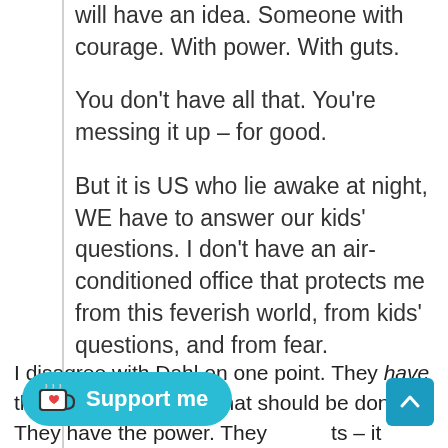will have an idea. Someone with courage. With power. With guts.

You don't have all that. You're messing it up – for good.

But it is US who lie awake at night, WE have to answer our kids' questions. I don't have an air-conditioned office that protects me from this feverish world, from kids' questions, and from fear.
I disagree with Dahl on one point. They have the idea. They know what should be done. They have the power. They … guts – it takes lots of guts to open … address about how the cou… is going to harness coal energy for another 200 years.
[Figure (other): Support me button with Ko-fi cup icon on a teal/cyan rounded rectangle background]
[Figure (other): Scroll-to-top chevron button on teal background, bottom right corner]